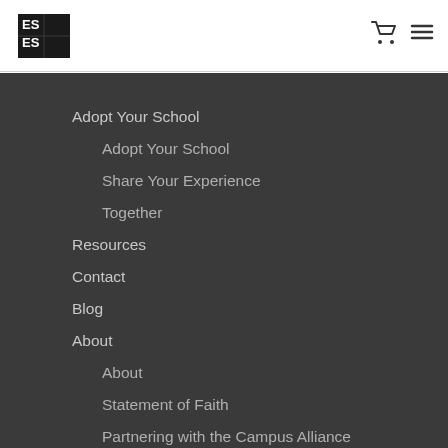[Figure (logo): ESES logo — white letters on black square grid background]
[Figure (other): Shopping cart icon and hamburger menu icon in header]
Adopt Your School
Adopt Your School
Share Your Experience
Together
Resources
Contact
Blog
About
About
Statement of Faith
Partnering with the Campus Alliance